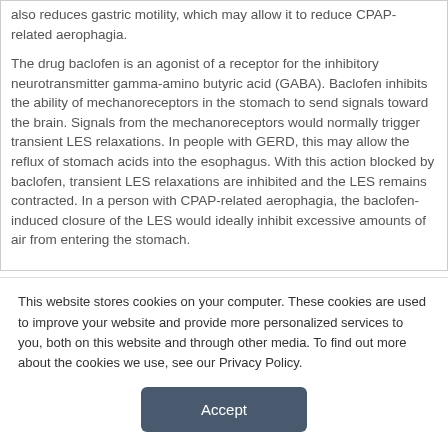also reduces gastric motility, which may allow it to reduce CPAP-related aerophagia.
The drug baclofen is an agonist of a receptor for the inhibitory neurotransmitter gamma-amino butyric acid (GABA). Baclofen inhibits the ability of mechanoreceptors in the stomach to send signals toward the brain. Signals from the mechanoreceptors would normally trigger transient LES relaxations. In people with GERD, this may allow the reflux of stomach acids into the esophagus. With this action blocked by baclofen, transient LES relaxations are inhibited and the LES remains contracted. In a person with CPAP-related aerophagia, the baclofen-induced closure of the LES would ideally inhibit excessive amounts of air from entering the stomach.
This website stores cookies on your computer. These cookies are used to improve your website and provide more personalized services to you, both on this website and through other media. To find out more about the cookies we use, see our Privacy Policy.